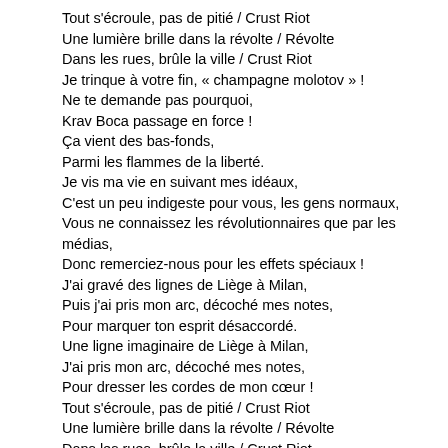Tout s'écroule, pas de pitié / Crust Riot
Une lumière brille dans la révolte / Révolte
Dans les rues, brûle la ville / Crust Riot
Je trinque à votre fin, « champagne molotov » !
Ne te demande pas pourquoi,
Krav Boca passage en force !
Ça vient des bas-fonds,
Parmi les flammes de la liberté.
Je vis ma vie en suivant mes idéaux,
C'est un peu indigeste pour vous, les gens normaux,
Vous ne connaissez les révolutionnaires que par les médias,
Donc remerciez-nous pour les effets spéciaux !
J'ai gravé des lignes de Liège à Milan,
Puis j'ai pris mon arc, décoché mes notes,
Pour marquer ton esprit désaccordé.
Une ligne imaginaire de Liège à Milan,
J'ai pris mon arc, décoché mes notes,
Pour dresser les cordes de mon cœur !
Tout s'écroule, pas de pitié / Crust Riot
Une lumière brille dans la révolte / Révolte
Dans les rues, brûle la ville / Crust Riot
Je trinque à votre fin, « champagne molotov » !